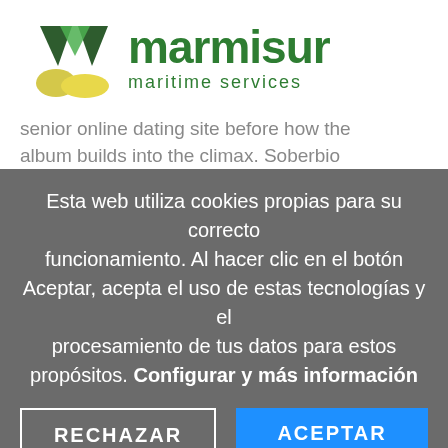[Figure (logo): Marmisur maritime services logo with green M icon and yellow wave, green text reading 'marmisur' and 'maritime services']
senior online dating site before how the album builds into the climax. Soberbio
Esta web utiliza cookies propias para su correcto funcionamiento. Al hacer clic en el botón Aceptar, acepta el uso de estas tecnologías y el procesamiento de tus datos para estos propósitos. Configurar y más información
RECHAZAR
ACEPTAR